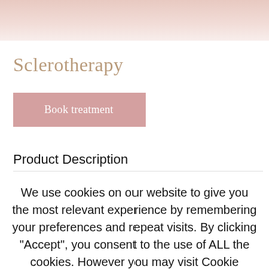[Figure (photo): Top banner image showing a soft pink/skin-toned background, partial view of a person's skin]
Sclerotherapy
Book treatment
Product Description
We use cookies on our website to give you the most relevant experience by remembering your preferences and repeat visits. By clicking “Accept”, you consent to the use of ALL the cookies. However you may visit Cookie Settings to provide a controlled consent.
Read More
ACCEPT   REJECT   settings